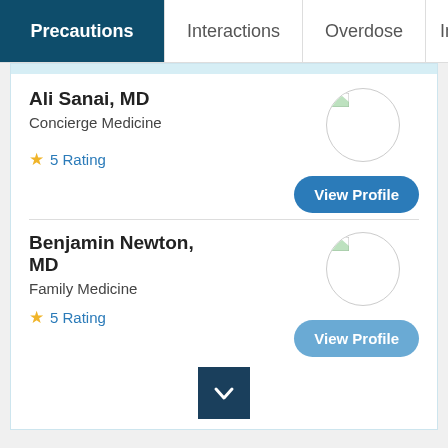Precautions | Interactions | Overdose | Imag
Ali Sanai, MD
Concierge Medicine
5 Rating
Benjamin Newton, MD
Family Medicine
5 Rating
Tell your doctor if you are pregnant or think you may
ADVERTISEMENT